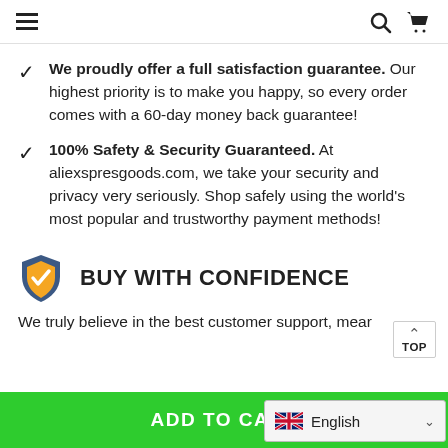Navigation bar with hamburger menu, search icon, and cart icon
We proudly offer a full satisfaction guarantee. Our highest priority is to make you happy, so every order comes with a 60-day money back guarantee!
100% Safety & Security Guaranteed. At aliexspresgoods.com, we take your security and privacy very seriously. Shop safely using the world's most popular and trustworthy payment methods!
BUY WITH CONFIDENCE
We truly believe in the best customer support, mear
ADD TO CART
English